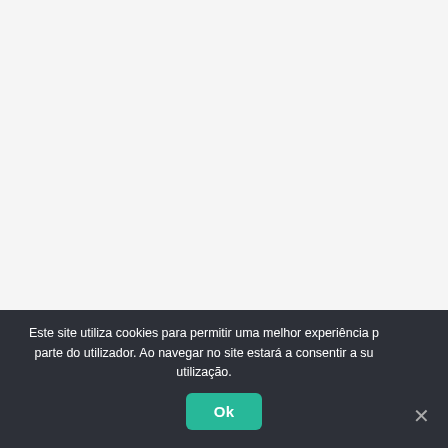[Figure (screenshot): White/light grey blank area taking up the upper portion of the page, representing a web page content area.]
Este site utiliza cookies para permitir uma melhor experiência por parte do utilizador. Ao navegar no site estará a consentir a sua utilização.